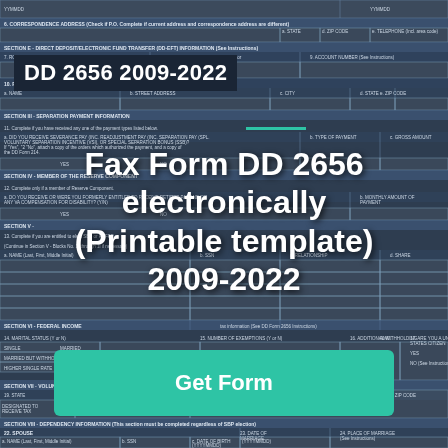[Figure (other): Background image of DD Form 2656 government document with sections for Direct Deposit, Separation Payment, Reserve Component, Federal Income, Voluntary State, Dependency Information fields]
DD 2656 2009-2022
Fax Form DD 2656 electronically (Printable template) 2009-2022
Get Form